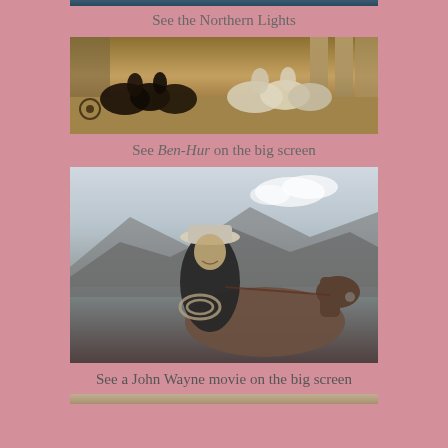[Figure (photo): Partial top image, partially cut off at top of page]
See the Northern Lights
[Figure (photo): Scene from Ben-Hur showing horses and chariots in a historical setting]
See Ben-Hur on the big screen
[Figure (photo): Black and white photo of John Wayne as a cowboy on horseback with rope]
See a John Wayne movie on the big screen
[Figure (photo): Partial bottom image, cut off at bottom of page]